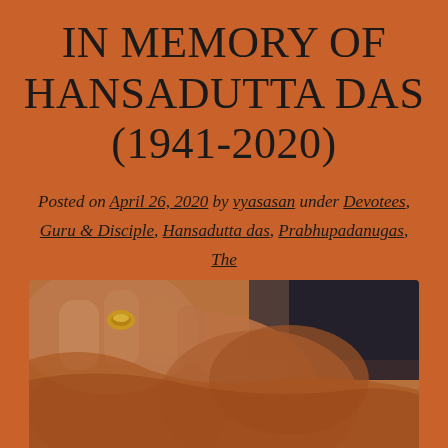IN MEMORY OF HANSADUTTA DAS (1941-2020)
Posted on April 26, 2020 by vyasasan under Devotees, Guru & Disciple, Hansadutta das, Prabhupadanugas, The Bhaktivedantas
[Figure (photo): Close-up photo of a person wearing saffron/orange robes with a hand raised, showing a gold ring on the finger. The image is cropped showing mainly the forehead and hand area.]